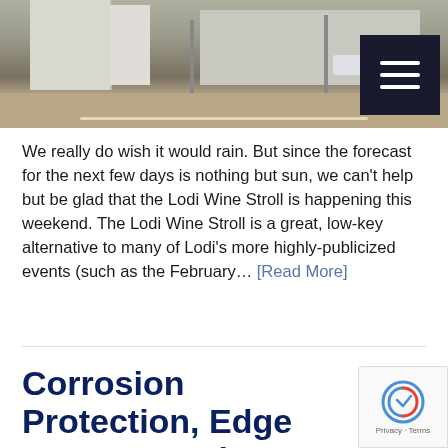[Figure (photo): Street scene photo showing a downtown intersection with buildings, parked cars, road markings, and street poles. A dark hamburger menu button is overlaid in the top-right corner.]
We really do wish it would rain. But since the forecast for the next few days is nothing but sun, we can't help but be glad that the Lodi Wine Stroll is happening this weekend. The Lodi Wine Stroll is a great, low-key alternative to many of Lodi's more highly-publicized events (such as the February… [Read More]
Corrosion Protection, Edge Coverage: The New Uses for Coating Primers